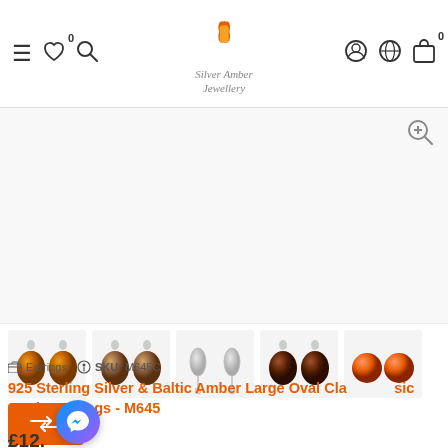[Figure (screenshot): Website navigation bar with hamburger menu, heart icon with 0 badge, search icon, Silver Amber Jewellery logo (flame/leaf design), account icon, globe icon, and shopping bag icon with 0 badge]
[Figure (photo): Main product image area (white/light grey background, appears blank/loading) with zoom-in magnifier icon in top right]
[Figure (photo): Row of 5 product thumbnail images showing amber stud earrings from different angles: cognac oval studs, brown/tan oval studs, silver back view, dark brown studs, and orange/red circular studs]
[Figure (other): Orange compare button with bidirectional arrow icon]
Earrings   SKU: M645C
925 Sterling Silver & Baltic Amber Large Oval Clasp Studs Earrings - M645
£12.